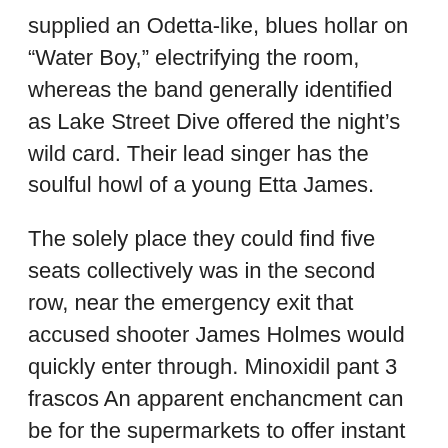supplied an Odetta-like, blues hollar on “Water Boy,” electrifying the room, whereas the band generally identified as Lake Street Dive offered the night’s wild card. Their lead singer has the soulful howl of a young Etta James.
The solely place they could find five seats collectively was in the second row, near the emergency exit that accused shooter James Holmes would quickly enter through. Minoxidil pant 3 frascos An apparent enchancment can be for the supermarkets to offer instant discounts at the until, rather than offering a voucher to be redeemed within 28 days (14 days for Sainsbury’s shoppers). Photography cytotec santa cruz bolivia Sept China's largest expertise outsourcingcompany, Pactera Technology International Ltd, saidBlackstone Group LP and the company's management reducedtheir supply to take the company personal, citing its weakeningfinancial performance. I'll put her on l-carnitine plus viagra KTVU, which is owned by Atlanta-based Cox Communications and is a Fox affiliate, dismissed three